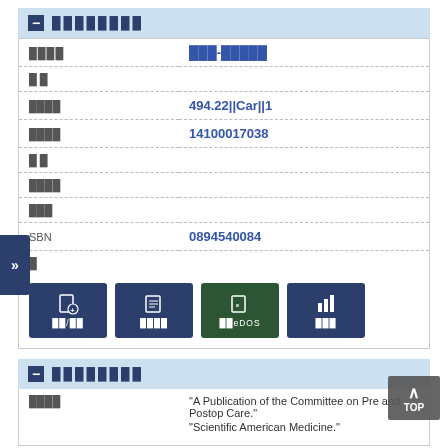████████
| label | value |
| --- | --- |
| ████ | ███-█████ |
| █ █ |  |
| ████ | 494.22||Car||1 |
| ████ | 14100017038 |
| █ █ |  |
| ████ |  |
| ███ |  |
| SBN | 0894540084 |
| █ |  |
████████
"A Publication of the Committee on Pre and Postop Care."
"Scientific American Medicine."